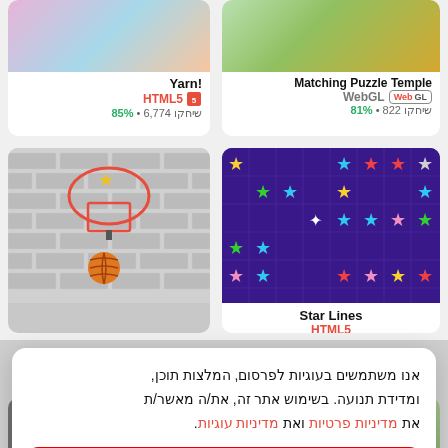[Figure (screenshot): Yarn! game card thumbnail (top left)]
Yarn!
HTML5
6,774 שיחקו • 85%
[Figure (screenshot): Matching Puzzle Temple game card thumbnail with WebGL badge (top right)]
Matching Puzzle Temple
WebGL
822 שיחקו • 81%
[Figure (screenshot): Extreme Basket Fall game thumbnail - brick wall with basketball hoop]
Extreme Basket Fall
HTML5
[Figure (screenshot): Star Lines game thumbnail - colorful stars on purple grid]
Star Lines
HTML5
אנו משתמשים בעוגיות לפרסום, המלצות תוכן, ומדידת תנועה. בשימוש אתר זה, את/ה מאשר/ת את מדיניות פרטיות ואת מדיניות עוגיות.
הבנתי